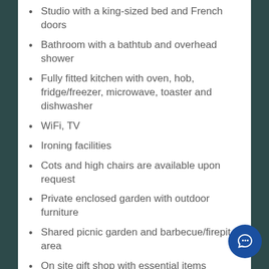Studio with a king-sized bed and French doors
Bathroom with a bathtub and overhead shower
Fully fitted kitchen with oven, hob, fridge/freezer, microwave, toaster and dishwasher
WiFi, TV
Ironing facilities
Cots and high chairs are available upon request
Private enclosed garden with outdoor furniture
Shared picnic garden and barbecue/firepit area
On site gift shop with essential items
Café on site serving meals, snacks and drinks to order